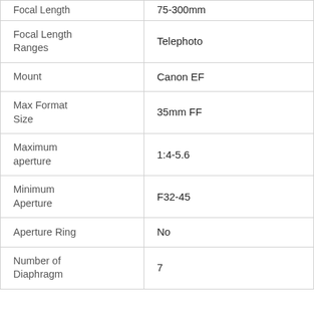| Property | Value |
| --- | --- |
| Focal Length | 75-300mm |
| Focal Length Ranges | Telephoto |
| Mount | Canon EF |
| Max Format Size | 35mm FF |
| Maximum aperture | 1:4-5.6 |
| Minimum Aperture | F32-45 |
| Aperture Ring | No |
| Number of Diaphragm | 7 |